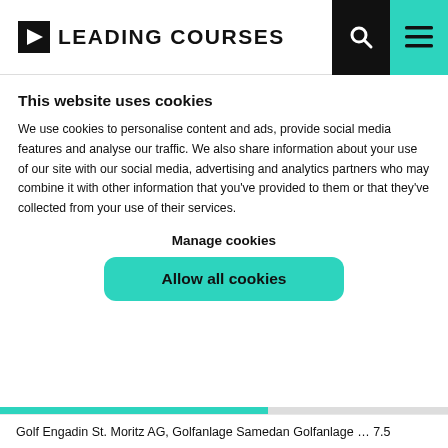LEADING COURSES
This website uses cookies
We use cookies to personalise content and ads, provide social media features and analyse our traffic. We also share information about your use of our site with our social media, advertising and analytics partners who may combine it with other information that you've provided to them or that they've collected from your use of their services.
Manage cookies
Allow all cookies
Golf Engadin St. Moritz AG, Golfanlage Samedan Golfanlage … 7.5